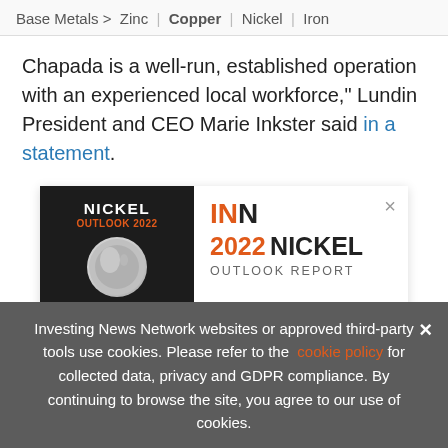Base Metals > Zinc | Copper | Nickel | Iron
Chapada is a well-run, established operation with an experienced local workforce," Lundin President and CEO Marie Inkster said in a statement.
[Figure (other): INN 2022 Nickel Outlook Report advertisement banner with dark background showing Nickel Outlook 2022 book cover and INN logo]
[Figure (other): Small INN Nickel Outlook 2022 ad bar: Updated Aug 5, 2022. TOP NICKEL Stocks, Trends, Forecasts. 2022 Nickel Outlook Report. INN logo.]
Investing News Network websites or approved third-party tools use cookies. Please refer to the cookie policy for collected data, privacy and GDPR compliance. By continuing to browse the site, you agree to our use of cookies.